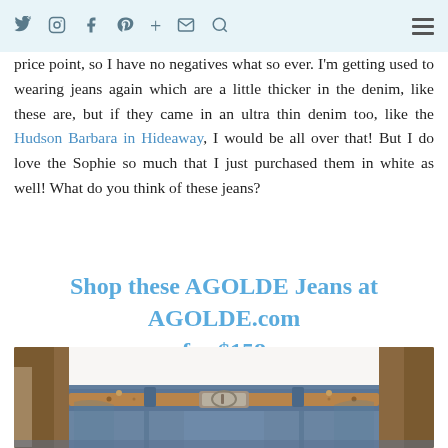Social media icons navigation bar with icons for Twitter, Instagram, Facebook, Pinterest, plus, email, search, and hamburger menu
price point, so I have no negatives what so ever. I'm getting used to wearing jeans again which are a little thicker in the denim, like these are, but if they came in an ultra thin denim too, like the Hudson Barbara in Hideaway, I would be all over that! But I do love the Sophie so much that I just purchased them in white as well! What do you think of these jeans?
Shop these AGOLDE Jeans at AGOLDE.com for $158
[Figure (photo): Close-up photo of a person wearing blue denim jeans with a tan/cognac leather belt with silver buckle, tucked-in white shirt, and brown jacket visible on sides]